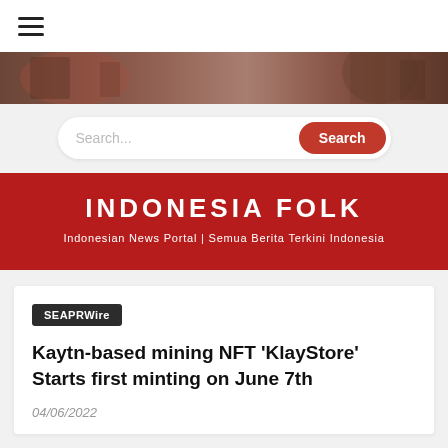≡
[Figure (photo): Hero banner image showing a blurred street or marketplace scene with warm red and brown tones]
Search...  Search
INDONESIA FOLK
Indonesian News Portal | Semua Berita Terkini Indonesia
SEAPRWire
Kaytn-based mining NFT 'KlayStore' Starts first minting on June 7th
04/06/2022